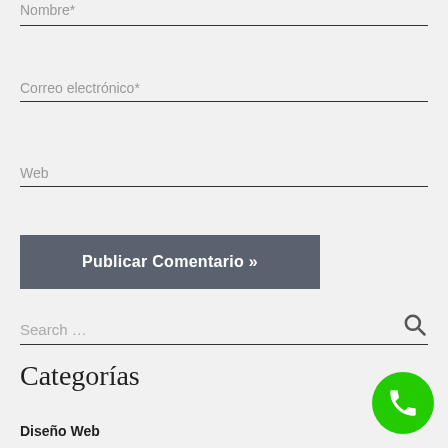Nombre*
Correo electrónico*
Web
Publicar Comentario »
Search …
Categorías
Diseño Web
[Figure (other): Green circular phone call button in bottom right corner]